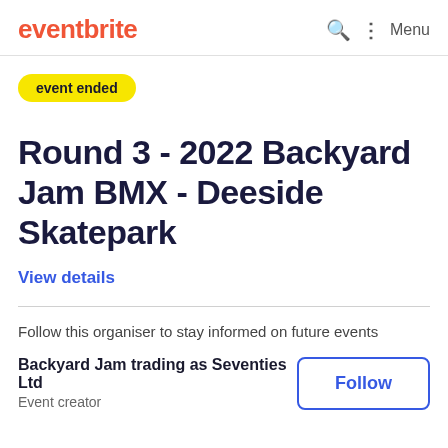eventbrite
event ended
Round 3 - 2022 Backyard Jam BMX - Deeside Skatepark
View details
Follow this organiser to stay informed on future events
Backyard Jam trading as Seventies Ltd
Event creator
Follow